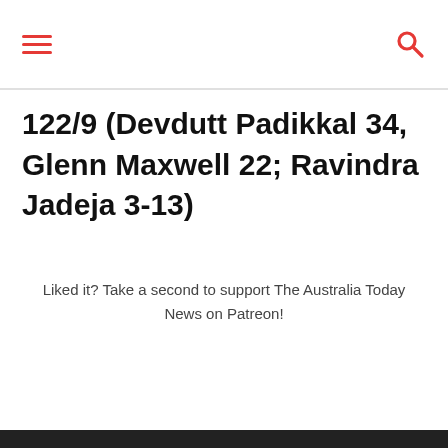122/9 (Devdutt Padikkal 34, Glenn Maxwell 22; Ravindra Jadeja 3-13)
Liked it? Take a second to support The Australia Today News on Patreon!